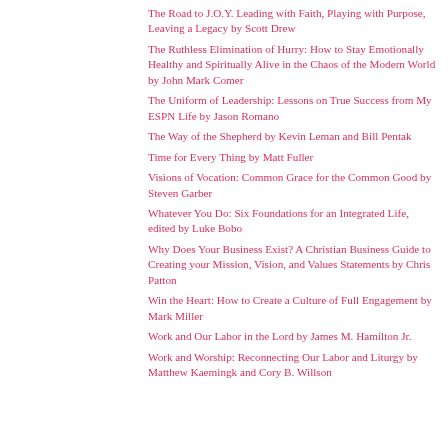The Road to J.O.Y. Leading with Faith, Playing with Purpose, Leaving a Legacy by Scott Drew
The Ruthless Elimination of Hurry: How to Stay Emotionally Healthy and Spiritually Alive in the Chaos of the Modern World by John Mark Comer
The Uniform of Leadership: Lessons on True Success from My ESPN Life by Jason Romano
The Way of the Shepherd by Kevin Leman and Bill Pentak
Time for Every Thing by Matt Fuller
Visions of Vocation: Common Grace for the Common Good by Steven Garber
Whatever You Do: Six Foundations for an Integrated Life, edited by Luke Bobo
Why Does Your Business Exist? A Christian Business Guide to Creating your Mission, Vision, and Values Statements by Chris Patton
Win the Heart: How to Create a Culture of Full Engagement by Mark Miller
Work and Our Labor in the Lord by James M. Hamilton Jr.
Work and Worship: Reconnecting Our Labor and Liturgy by Matthew Kaemingk and Cory B. Willson